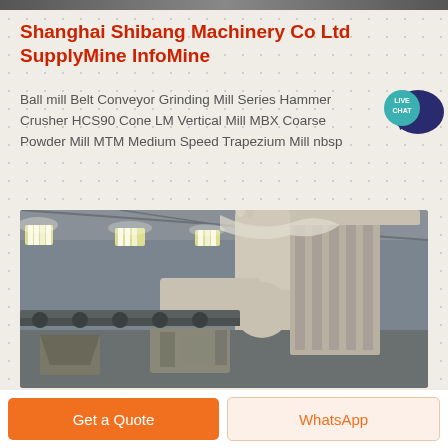Shanghai Shibang Machinery Co Ltd SupplyMine InfoMine
Ball mill Belt Conveyor Grinding Mill Series Hammer Crusher HCS90 Cone LM Vertical Mill MBX Coarse Powder Mill MTM Medium Speed Trapezium Mill nbsp
[Figure (photo): Industrial machinery interior showing dust collector/separator equipment with large duct pipes, conveyor systems, and industrial lighting fixtures in a manufacturing facility]
Get a Quote
WhatsApp